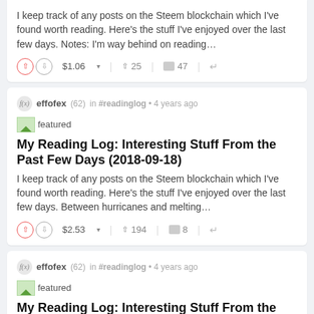I keep track of any posts on the Steem blockchain which I've found worth reading. Here's the stuff I've enjoyed over the last few days. Notes: I'm way behind on reading…
↑ $1.06 ▾   ↑ 25   💬 47   ↺
effofex (62) in #readinglog • 4 years ago
[Figure (illustration): Small featured image icon (green/image placeholder)]
My Reading Log: Interesting Stuff From the Past Few Days (2018-09-18)
I keep track of any posts on the Steem blockchain which I've found worth reading. Here's the stuff I've enjoyed over the last few days. Between hurricanes and melting…
↑ $2.53 ▾   ↑ 194   💬 8   ↺
effofex (62) in #readinglog • 4 years ago
[Figure (illustration): Small featured image icon (green/image placeholder)]
My Reading Log: Interesting Stuff From the Past